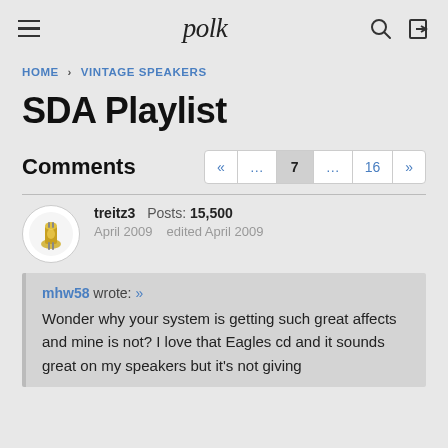polk
HOME › VINTAGE SPEAKERS
SDA Playlist
Comments
treitz3  Posts: 15,500  April 2009  edited April 2009
mhw58 wrote: »
Wonder why your system is getting such great affects and mine is not? I love that Eagles cd and it sounds great on my speakers but it's not giving